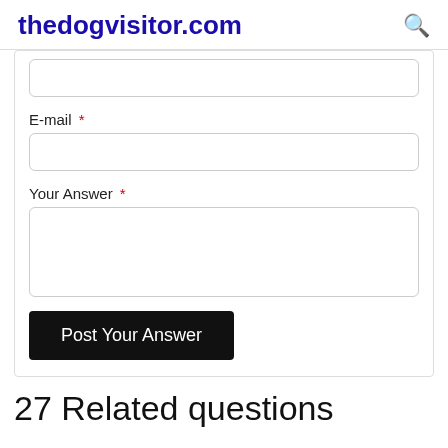thedogvisitor.com
E-mail *
Your Answer *
Post Your Answer
27 Related questions